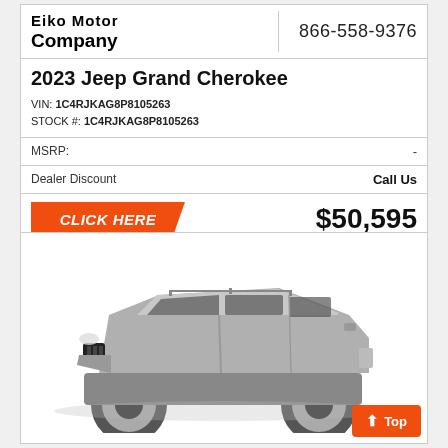Eiko Motor Company | 866-558-9376
2023 Jeep Grand Cherokee
VIN: 1C4RJKAG8P8105263
STOCK #: 1C4RJKAG8P8105263
MSRP: -
Dealer Discount   Call Us
CLICK HERE   $50,595
[Figure (photo): 2023 Jeep Grand Cherokee SUV shown in silver/gray color, side-front 3/4 view, grayscale photo on white background]